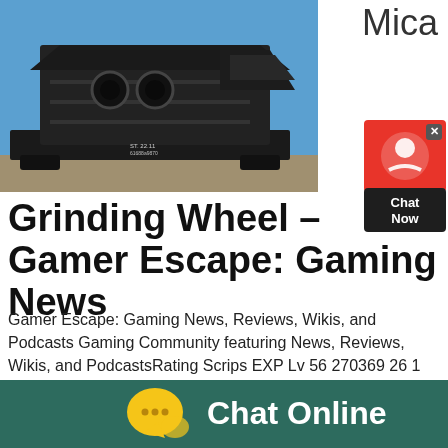[Figure (photo): Large black industrial grinding wheel machine loaded on a flatbed rail car, photographed outdoors under blue sky]
Mica
[Figure (other): Red and dark chat widget with headset icon and 'Chat Now' text, with close button]
Grinding Wheel – Gamer Escape: Gaming News
Gamer Escape: Gaming News, Reviews, Wikis, and Podcasts Gaming Community featuring News, Reviews, Wikis, and PodcastsRating Scrips EXP Lv 56 270369 26 1 135 296 370479 28 1 248 825 480+ 31 1 362 355 When
[Figure (other): Dark teal banner with yellow speech bubble chat icon and white 'Chat Online' text]